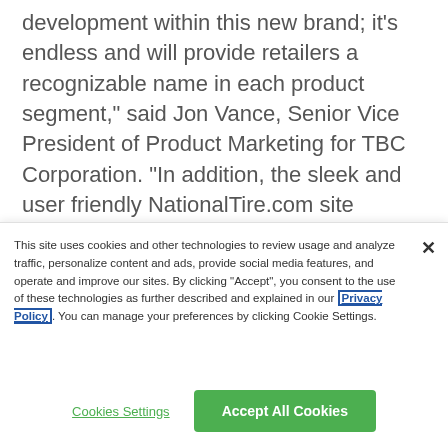development within this new brand; it’s endless and will provide retailers a recognizable name in each product segment,” said Jon Vance, Senior Vice President of Product Marketing for TBC Corporation. “In addition, the sleek and user friendly NationalTire.com site provides the brand’s retailers a single site for information and also offers their customers an
This site uses cookies and other technologies to review usage and analyze traffic, personalize content and ads, provide social media features, and operate and improve our sites. By clicking “Accept”, you consent to the use of these technologies as further described and explained in our Privacy Policy. You can manage your preferences by clicking Cookie Settings.
Cookies Settings
Accept All Cookies